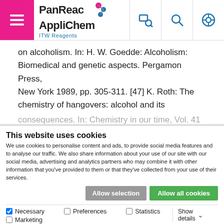[Figure (logo): PanReac AppliChem ITW Reagents logo with hamburger menu and navigation icons]
on alcoholism. In: H. W. Goedde: Alcoholism: Biomedical and genetic aspects. Pergamon Press, New York 1989, pp. 305-311. [47] K. Roth: The chemistry of hangovers: alcohol and its consequences. In: Chemistry in our time, Vol. 41
This website uses cookies
We use cookies to personalise content and ads, to provide social media features and to analyse our traffic. We also share information about your use of our site with our social media, advertising and analytics partners who may combine it with other information that you've provided to them or that they've collected from your use of their services.